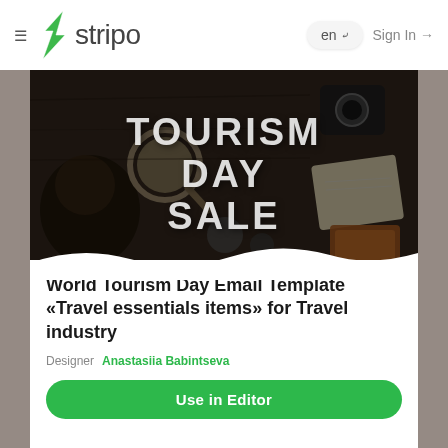[Figure (logo): Stripo logo with green lightning bolt icon and gray 'stripo' wordmark]
en ∨
Sign In →
[Figure (photo): Tourism Day Sale promotional image showing travel essentials (boots, magnifying glass, camera, passport, map, wallet) on a dark wooden surface with large text 'TOURISM DAY SALE']
World Tourism Day Email Template «Travel essentials items» for Travel industry
Designer   Anastasiia Babintseva
Use in Editor